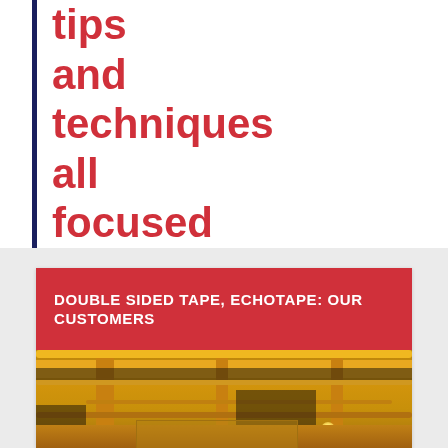tips and techniques all focused on tape!
[Figure (other): Card with red header reading 'DOUBLE SIDED TAPE, ECHOTAPE: OUR CUSTOMERS' and below it an industrial ceiling photo showing yellow beams and pipes]